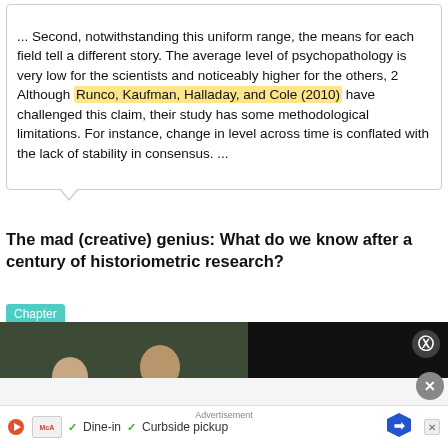... Second, notwithstanding this uniform range, the means for each field tell a different story. The average level of psychopathology is very low for the scientists and noticeably higher for the others, 2 Although Runco, Kaufman, Halladay, and Cole (2010) have challenged this claim, their study has some methodological limitations. For instance, change in level across time is conflated with the lack of stability in consensus. ...
The mad (creative) genius: What do we know after a century of historiometric research?
Chapter
[Figure (screenshot): Video overlay showing lab scene with people in white coats, play button, and text: Top three ways social proof can boost your organic reach and engagement. Banner text: TOP THREE WAYS [SOCIAL] PROOF CAN BOOST YOUR ORGANIC [REACH] AND ENGAGEMENT]
... As time passes, older historical figures and events tend to become forgotten, or obsolescence processes only
[Figure (screenshot): Advertisement bar at bottom: McA logo, play button, dine-in checkmark, curbside pickup checkmark, blue diamond badge, X close button]